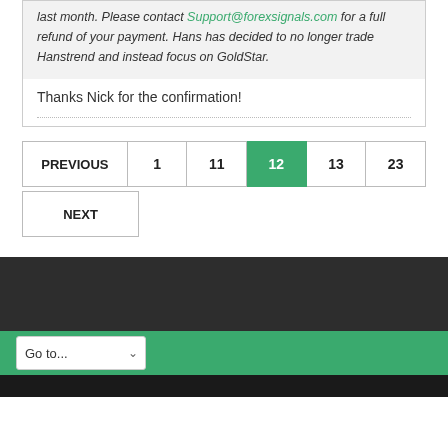last month. Please contact Support@forexsignals.com for a full refund of your payment. Hans has decided to no longer trade Hanstrend and instead focus on GoldStar.
Thanks Nick for the confirmation!
PREVIOUS 1 11 12 13 23 NEXT
Go to...